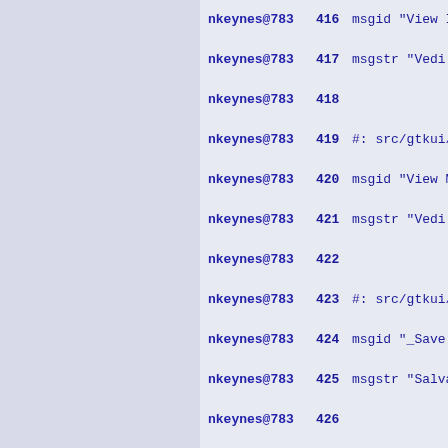nkeynes@783  416 msgid "View IO _R...
nkeynes@783  417 msgstr "Vedi i reg...
nkeynes@783  418
nkeynes@783  419 #: src/gtkui/gtkui...
nkeynes@783  420 msgid "View MMIO R...
nkeynes@783  421 msgstr "Vedi i reg...
nkeynes@783  422
nkeynes@783  423 #: src/gtkui/gtkui...
nkeynes@783  424 msgid "_Save Scene...
nkeynes@783  425 msgstr "Salva la s...
nkeynes@783  426